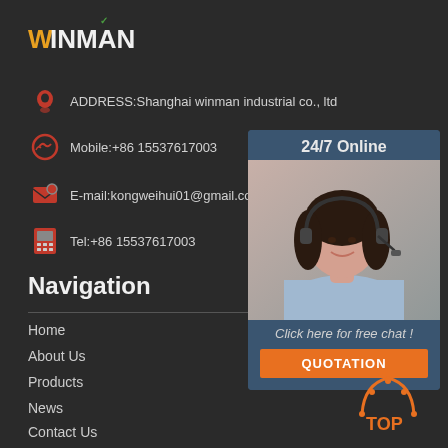[Figure (logo): WINMAN logo with orange text and green checkmark]
ADDRESS:Shanghai winman industrial co., ltd
Mobile:+86 15537617003
E-mail:kongweihui01@gmail.com
Tel:+86 15537617003
[Figure (infographic): 24/7 Online customer service widget with photo of woman with headset, Click here for free chat text, and QUOTATION button]
Navigation
Home
About Us
Products
News
Contact Us
[Figure (illustration): Orange TOP button with upward arrow icon]